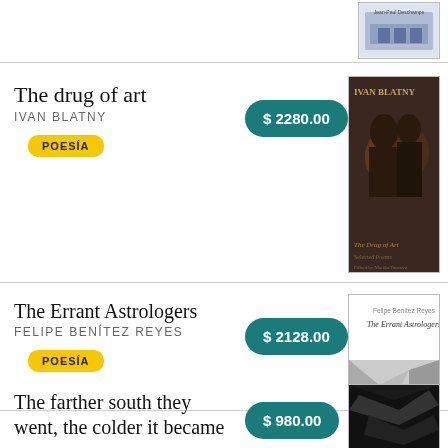[Figure (illustration): Book cover thumbnail at top right, light blue/illustrated building scene]
The drug of art
IVAN BLATNY
POESÍA
$ 2280.00
[Figure (illustration): Book cover for The drug of art by Ivan Blatny, dark sepia tones with two silhouetted figures]
The Errant Astrologers
FELIPE BENÍTEZ REYES
POESÍA
$ 2128.00
[Figure (illustration): Book cover for The Errant Astrologers by Felipe Benítez Reyes, geometric crystalline pattern in black and white]
The farther south they went, the colder it became
$ 980.00